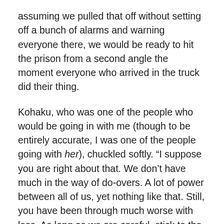assuming we pulled that off without setting off a bunch of alarms and warning everyone there, we would be ready to hit the prison from a second angle the moment everyone who arrived in the truck did their thing.

Kohaku, who was one of the people who would be going in with me (though to be entirely accurate, I was one of the people going with her), chuckled softly. “I suppose you are right about that. We don’t have much in the way of do-overs. A lot of power between all of us, yet nothing like that. Still, you have been through much worse with less. As long as we are careful, stick to the plan, and don’t… rush things, I believe we will make it through. And we will leave there with the prisoners.” A faint smile touched her face before she added, “I believe there are a few who are more nervous about this rescue than you.” As she said